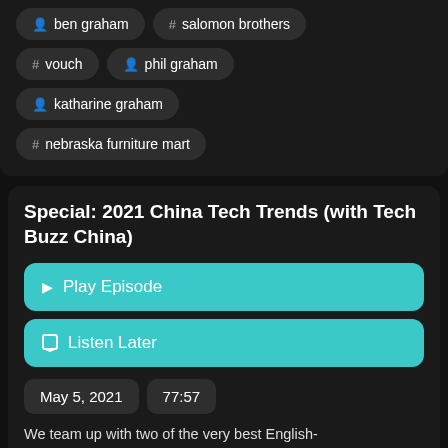# ben graham
# salomon brothers
# vouch
person phil graham
person katharine graham
# nebraska furniture mart
Special: 2021 China Tech Trends (with Tech Buzz China)
Play Episode
Listen Later
May 5, 2021
77:57
We team up with two of the very best English-